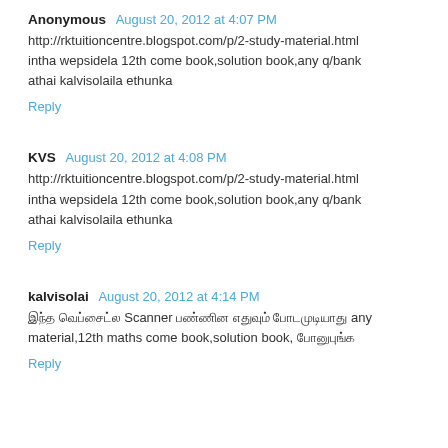Anonymous August 20, 2012 at 4:07 PM
http://rktuitioncentre.blogspot.com/p/2-study-material.html intha wepsidela 12th come book,solution book,any q/bank athai kalvisolaila ethunka
Reply
KVS August 20, 2012 at 4:08 PM
http://rktuitioncentre.blogspot.com/p/2-study-material.html intha wepsidela 12th come book,solution book,any q/bank athai kalvisolaila ethunka
Reply
kalvisolai August 20, 2012 at 4:14 PM
இந்த வெப்சைட்ல Scanner பண்ணின எதுவும் போடமுடியாது any material,12th maths come book,solution book, போனுபுங்க
Reply